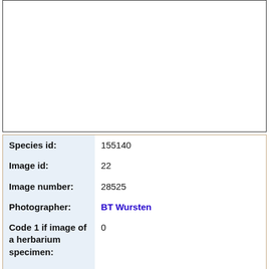[Figure (photo): Empty white image box with black border, representing a plant/herbarium specimen image area]
| Species id: | 155140 |
| Image id: | 22 |
| Image number: | 28525 |
| Photographer: | BT Wursten |
| Code 1 if image of a herbarium specimen: | 0 |
| Herbarium in which image... |  |